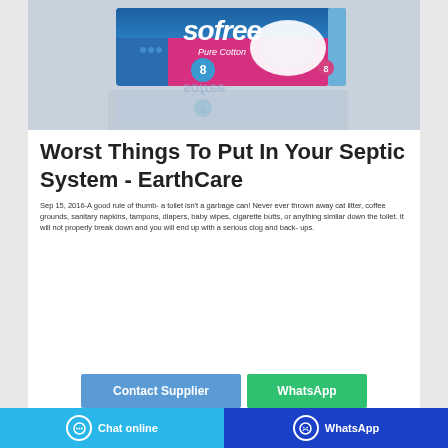[Figure (photo): Product photo of Sofree Pure Cotton sanitary pads package, pink and blue packaging, shown with reflection below on grey background.]
Worst Things To Put In Your Septic System - EarthCare
Sep 15, 2016-A good rule of thumb- a toilet isn't a garbage can! Never ever thrown away cat litter, coffee grounds, sanitary napkins, tampons, diapers, baby wipes, cigarette butts, or anything similar down the toilet. It will not properly break down and you will end up with a serious clog and back- ups.
Contact Supplier
WhatsApp
Chat online   WhatsApp